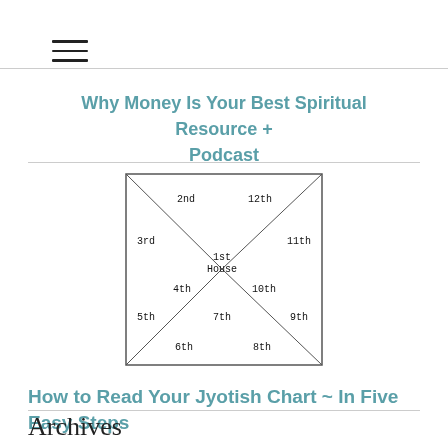[Figure (other): Hamburger menu icon with three horizontal lines]
Why Money Is Your Best Spiritual Resource + Podcast
[Figure (other): Jyotish (Vedic astrology) chart diagram showing a square divided into 12 houses by diagonal and straight lines. Houses labeled: 1st House (center), 2nd, 3rd, 4th, 5th, 6th, 7th, 8th, 9th, 10th, 11th, 12th.]
How to Read Your Jyotish Chart ~ In Five Easy Steps
Archives